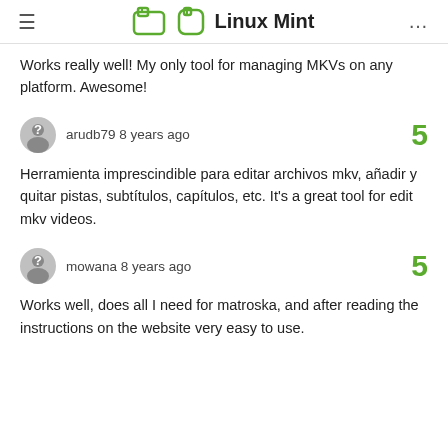Linux Mint
Works really well! My only tool for managing MKVs on any platform. Awesome!
arudb79 8 years ago
Herramienta imprescindible para editar archivos mkv, añadir y quitar pistas, subtítulos, capítulos, etc. It's a great tool for edit mkv videos.
mowana 8 years ago
Works well, does all I need for matroska, and after reading the instructions on the website very easy to use.